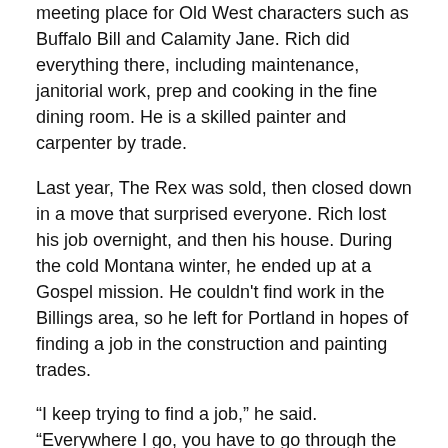meeting place for Old West characters such as Buffalo Bill and Calamity Jane. Rich did everything there, including maintenance, janitorial work, prep and cooking in the fine dining room. He is a skilled painter and carpenter by trade.
Last year, The Rex was sold, then closed down in a move that surprised everyone. Rich lost his job overnight, and then his house. During the cold Montana winter, he ended up at a Gospel mission. He couldn't find work in the Billings area, so he left for Portland in hopes of finding a job in the construction and painting trades.
“I keep trying to find a job,” he said. “Everywhere I go, you have to go through the process. They put so many people in front of you that don’t have the right information.”
Rich's wallet and truck with his tools in it were stolen shortly after arriving in Portland.
“I've been trying to stay above water,” he said. “I've always had a truck, tools and a phone.”
Now he donates his time at Sisters of the Road so he can eat, and he's still looking for work.
“I love working. I love being independent. Being homeless I don’t enjoy,” he said. “Once I get one hand up, I'll get it. My main goal is